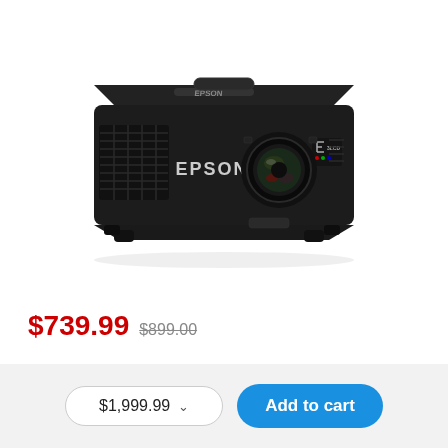[Figure (photo): Epson brand projector, black, viewed from front-top angle, showing EPSON logo on front, lens, ventilation grille, and 3LCD logo]
$739.99  $899.00
$1,999.99  Add to cart